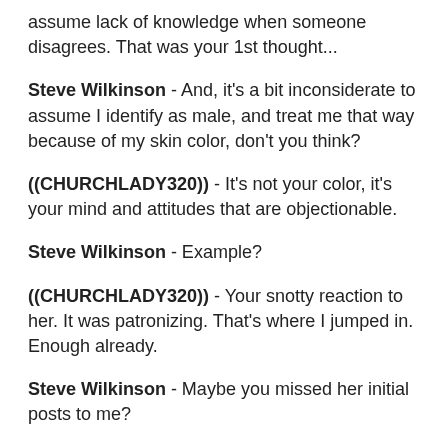assume lack of knowledge when someone disagrees. That was your 1st thought...
Steve Wilkinson - And, it's a bit inconsiderate to assume I identify as male, and treat me that way because of my skin color, don't you think?
((CHURCHLADY320)) - It's not your color, it's your mind and attitudes that are objectionable.
Steve Wilkinson - Example?
((CHURCHLADY320)) - Your snotty reaction to her. It was patronizing. That's where I jumped in. Enough already.
Steve Wilkinson - Maybe you missed her initial posts to me?
((CHURCHLADY320)) - I did. Don't need to see those to see what you said and how you said it.
Steve Wilkinson - Contextually challenged, I see.